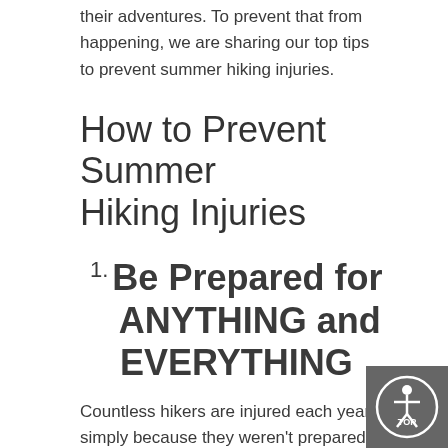their adventures. To prevent that from happening, we are sharing our top tips to prevent summer hiking injuries.
How to Prevent Summer Hiking Injuries
1. Be Prepared for ANYTHING and EVERYTHING
Countless hikers are injured each year simply because they weren't prepared! Before you go hiking, always make sure to:
Investigate the difficulty level, camping options